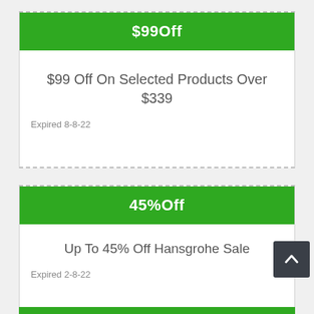$99Off
$99 Off On Selected Products Over $339
Expired 8-8-22
45%Off
Up To 45% Off Hansgrohe Sale
Expired 2-8-22